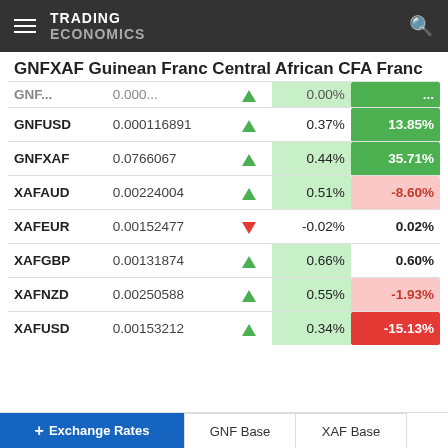TRADING ECONOMICS
GNFXAF Guinean Franc Central African CFA Franc
| Ticker | Rate | Dir | Day% | YTD% |
| --- | --- | --- | --- | --- |
| GNF... | 0.000... |  | 0.00% | ...% |
| GNFUSD | 0.000116891 | ▲ | 0.37% | 13.85% |
| GNFXAF | 0.0766067 | ▲ | 0.44% | 35.71% |
| XAFAUD | 0.00224004 | ▲ | 0.51% | -8.60% |
| XAFEUR | 0.00152477 | ▼ | -0.02% | 0.02% |
| XAFGBP | 0.00131874 | ▲ | 0.66% | 0.60% |
| XAFNZD | 0.00250588 | ▲ | 0.55% | -1.93% |
| XAFUSD | 0.00153212 | ▲ | 0.34% | -15.13% |
Exchange Rates  GNF Base  XAF Base